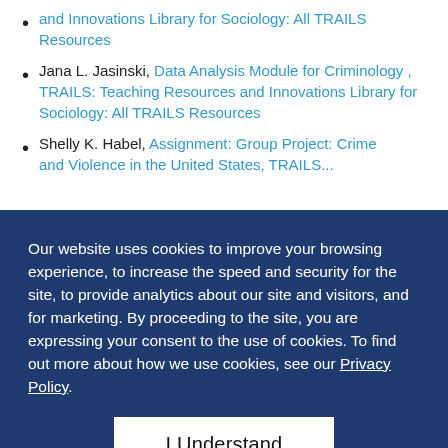and Innovations Library for Sociology: All TRAILS Resources
Jana L. Jasinski, Data Analysis Module for Criminology , TRAILS: Teaching Resources and Innovations Library for Sociology: All TRAILS Resources
Shelly K. Habel, Assignment: Group Project: Crime and Violence in the United States, TRAILS...
Our website uses cookies to improve your browsing experience, to increase the speed and security for the site, to provide analytics about our site and visitors, and for marketing. By proceeding to the site, you are expressing your consent to the use of cookies. To find out more about how we use cookies, see our Privacy Policy.